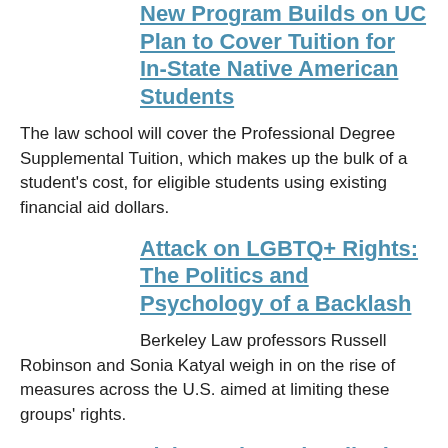New Program Builds on UC Plan to Cover Tuition for In-State Native American Students
The law school will cover the Professional Degree Supplemental Tuition, which makes up the bulk of a student's cost, for eligible students using existing financial aid dollars.
Attack on LGBTQ+ Rights: The Politics and Psychology of a Backlash
Berkeley Law professors Russell Robinson and Sonia Katyal weigh in on the rise of measures across the U.S. aimed at limiting these groups' rights.
Flying Solo: Ruky Tijani '14 Helps Social Entrepreneurs